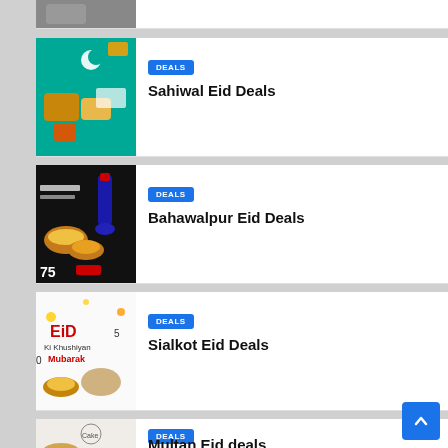[Figure (photo): Partial food image at top]
[Figure (photo): McDonald's Eid Mubarak teal promotional image with food]
DEALS
Sahiwal Eid Deals
[Figure (photo): Dark background food deals image with Pepsi bottle and burgers, number 75]
DEALS
Bahawalpur Eid Deals
[Figure (photo): Eid Ki Khushiyan Mubarak white background with food items]
DEALS
Sialkot Eid Deals
[Figure (photo): Partial bottom card with food image]
DEALS
Multan Eid deals